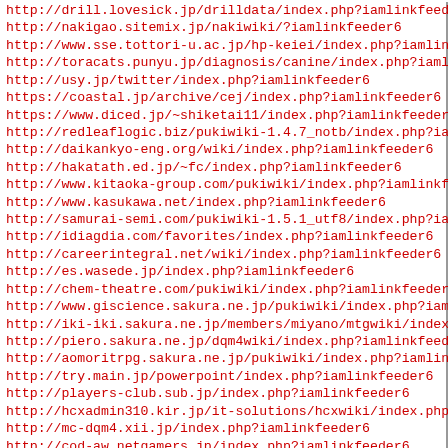http://drill.lovesick.jp/drilldata/index.php?iamlinkfeeder6
http://nakigao.sitemix.jp/nakiwiki/?iamlinkfeeder6
http://www.sse.tottori-u.ac.jp/hp-keiei/index.php?iamlinkfe
http://toracats.punyu.jp/diagnosis/canine/index.php?iamlink
http://usy.jp/twitter/index.php?iamlinkfeeder6
https://coastal.jp/archive/cej/index.php?iamlinkfeeder6
https://www.diced.jp/~shiketai11/index.php?iamlinkfeeder6
http://redleaflogic.biz/pukiwiki-1.4.7_notb/index.php?iamli
http://daikankyo-eng.org/wiki/index.php?iamlinkfeeder6
http://hakatath.ed.jp/~fc/index.php?iamlinkfeeder6
http://www.kitaoka-group.com/pukiwiki/index.php?iamlinkfeed
http://www.kasukawa.net/index.php?iamlinkfeeder6
http://samurai-semi.com/pukiwiki-1.5.1_utf8/index.php?iamli
http://idiagdia.com/favorites/index.php?iamlinkfeeder6
http://careerintegral.net/wiki/index.php?iamlinkfeeder6
http://es.wasede.jp/index.php?iamlinkfeeder6
http://chem-theatre.com/pukiwiki/index.php?iamlinkfeeder6
http://www.giscience.sakura.ne.jp/pukiwiki/index.php?iamlin
http://iki-iki.sakura.ne.jp/members/miyano/mtgwiki/index.ph
http://piero.sakura.ne.jp/dqm4wiki/index.php?iamlinkfeeder6
http://aomoritrpg.sakura.ne.jp/pukiwiki/index.php?iamlinkfe
http://try.main.jp/powerpoint/index.php?iamlinkfeeder6
http://players-club.sub.jp/index.php?iamlinkfeeder6
http://hcxadmin310.kir.jp/it-solutions/hcxwiki/index.php?ia
http://mc-dqm4.xii.jp/index.php?iamlinkfeeder6
http://cod-aw.netgamers.jp/index.php?iamlinkfeeder6
http://aawolf.uh-oh.jp/index.php?iamlinkfeeder6
http://diced.jp/~shiketai11/index.php?iamlinkfeeder6
http://www.diced.jp/~shiketai11/index.php?iamlinkfeeder6